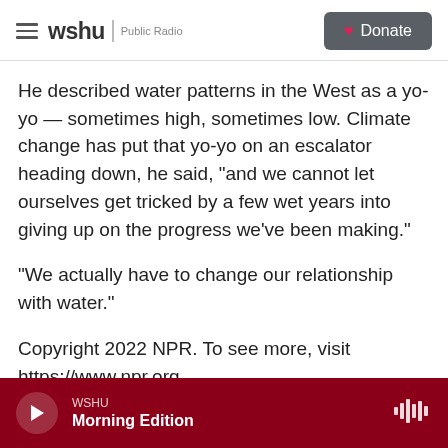wshu | Public Radio — Donate
He described water patterns in the West as a yo-yo — sometimes high, sometimes low. Climate change has put that yo-yo on an escalator heading down, he said, "and we cannot let ourselves get tricked by a few wet years into giving up on the progress we've been making."
"We actually have to change our relationship with water."
Copyright 2022 NPR. To see more, visit https://www.npr.org.
WSHU Morning Edition